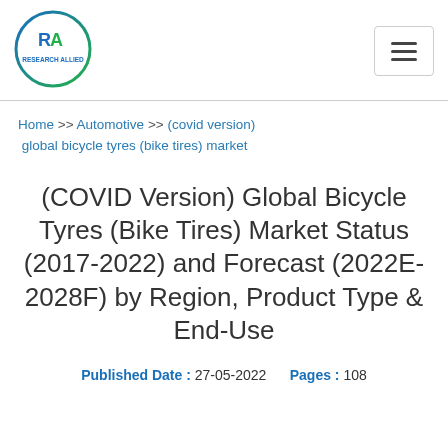[Figure (logo): Research Allied circular logo with RA letters in blue/green and text 'Research Allied' around the bottom]
Home >> Automotive >> (covid version) global bicycle tyres (bike tires) market
(COVID Version) Global Bicycle Tyres (Bike Tires) Market Status (2017-2022) and Forecast (2022E-2028F) by Region, Product Type & End-Use
Published Date : 27-05-2022    Pages : 108